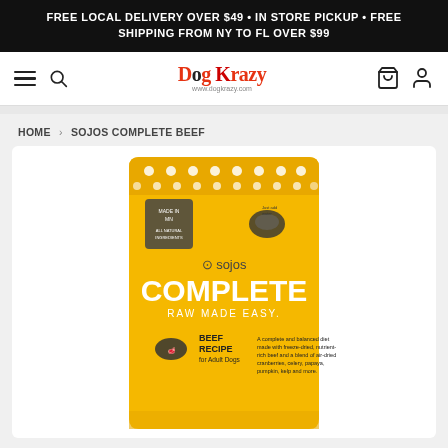FREE LOCAL DELIVERY OVER $49 • IN STORE PICKUP • FREE SHIPPING FROM NY TO FL OVER $99
[Figure (logo): Dog Krazy logo with hamburger menu, search icon, cart icon, and user account icon]
HOME > SOJOS COMPLETE BEEF
[Figure (photo): Sojos Complete Beef Recipe freeze-dried dog food in a yellow bag with white polka dots. Text on bag: sojos COMPLETE RAW MADE EASY. BEEF RECIPE for Adult Dogs. A complete and balanced diet made with freeze-dried, nutrient-rich beef and a blend of air-dried cranberries, celery, papaya, pumpkin, kelp and more.]